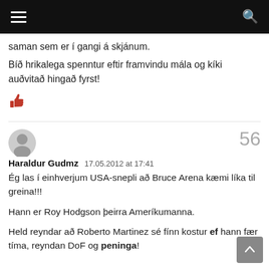Navigation bar with hamburger menu and search icon
saman sem er í gangi á skjánum.
Bíð hrikalega spenntur eftir framvindu mála og kíki auðvitað hingað fyrst!
[Figure (other): Red thumbs-up icon (like button)]
56
Haraldur Gudmz   17.05.2012 at 17:41
Ég las í einhverjum USA-snepli að Bruce Arena kæmi líka til greina!!!

Hann er Roy Hodgson þeirra Ameríkumanna.

Held reyndar að Roberto Martinez sé fínn kostur ef hann fær tíma, reyndan DoF og peninga!